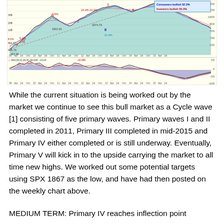[Figure (continuous-plot): Weekly SPX stock chart from 2009 to mid-2015 with Elliott Wave labels (I, II, III, IV, 1, 2, 3, 4, 5), MACD indicator below, bullish sentiment indicators in legend (Consumers bullish 52.2%, Investors bullish 55.0%), price ranges from ~600 to 1200+, with various percentage annotations in red and cyan on wave peaks/troughs.]
While the current situation is being worked out by the market we continue to see this bull market as a Cycle wave [1] consisting of five primary waves. Primary waves I and II completed in 2011, Primary III completed in mid-2015 and Primary IV either completed or is still underway. Eventually, Primary V will kick in to the upside carrying the market to all time new highs. We worked out some potential targets using SPX 1867 as the low, and have had then posted on the weekly chart above.
MEDIUM TERM: Primary IV reaches inflection point